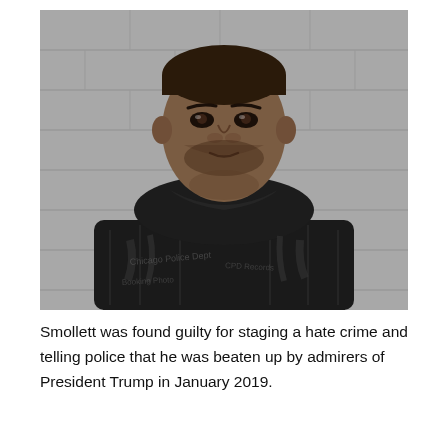[Figure (photo): Mugshot-style photograph of Jussie Smollett in front of a grey concrete block wall, wearing a black puffer jacket over a white shirt. The photo appears to be an official arrest booking photo.]
Smollett was found guilty for staging a hate crime and telling police that he was beaten up by admirers of President Trump in January 2019.